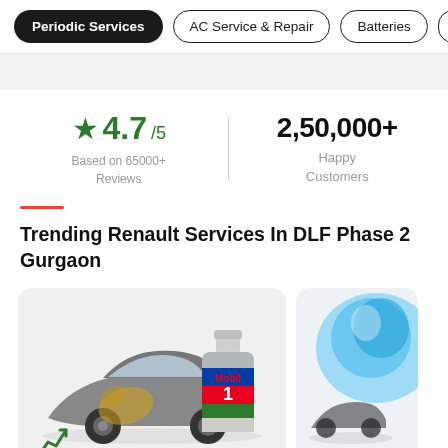Periodic Services | AC Service & Repair | Batteries | Tyr...
★ 4.7/5
Based on 65000+ Reviews
2,50,000+
Happy Customers
Trending Renault Services In DLF Phase 2 Gurgaon
[Figure (photo): Car service product image showing a car with Mobil 1 engine oil bottle]
[Figure (photo): Partial view of another service product card with blue colored product]